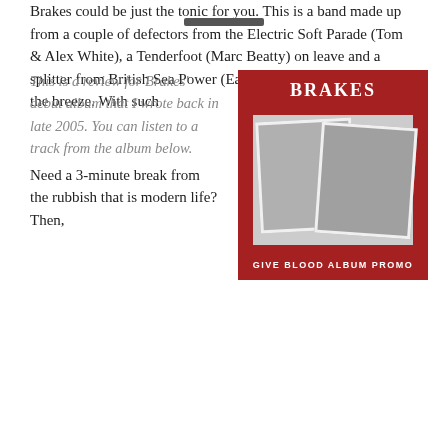This is a review for Brakes' debut album that I wrote back in late 2005. You can listen to a track from the album below.
[Figure (photo): Album cover for Brakes 'Give Blood Album Promo' — red background with band name BRAKES at top in white bold serif text, two overlapping black-and-white band photos in the center, and text 'GIVE BLOOD ALBUM PROMO' at the bottom in white uppercase letters.]
Need a 3-minute break from the rubbish that is modern life? Then, Brakes could be just the tonic for you. This is a band made up from a couple of defectors from the Electric Soft Parade (Tom & Alex White), a Tenderfoot (Marc Beatty) on leave and a splitter from British Sea Power (Eamon Hamilton) just shooting the breeze. With such